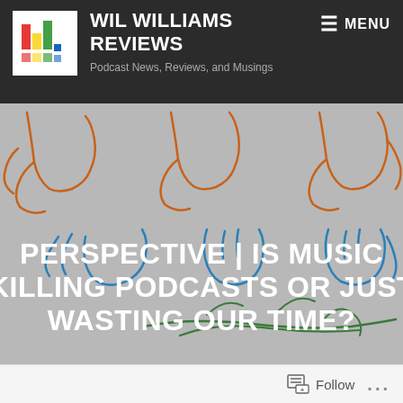WIL WILLIAMS REVIEWS — Podcast News, Reviews, and Musings
[Figure (illustration): Hero banner image with grey background showing abstract hand-drawn figures of hands/people in orange, blue, and green outline strokes, with white bold text overlay reading 'PERSPECTIVE | IS MUSIC KILLING PODCASTS OR JUST WASTING OUR TIME?']
PERSPECTIVE | IS MUSIC KILLING PODCASTS OR JUST WASTING OUR TIME?
Follow ...